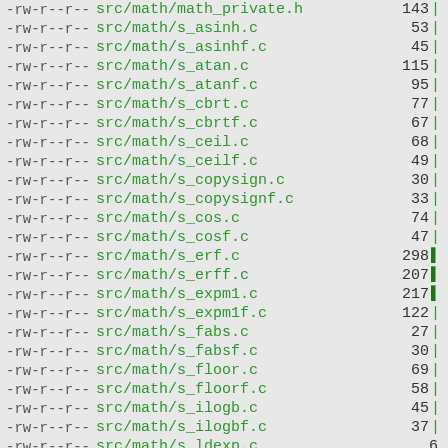-rw-r--r--  src/math/math_private.h  143 |
-rw-r--r--  src/math/s_asinh.c  53 |
-rw-r--r--  src/math/s_asinhf.c  45 |
-rw-r--r--  src/math/s_atan.c  115 |
-rw-r--r--  src/math/s_atanf.c  95 |
-rw-r--r--  src/math/s_cbrt.c  77 |
-rw-r--r--  src/math/s_cbrtf.c  67 |
-rw-r--r--  src/math/s_ceil.c  68 |
-rw-r--r--  src/math/s_ceilf.c  49 |
-rw-r--r--  src/math/s_copysign.c  30 |
-rw-r--r--  src/math/s_copysignf.c  33 |
-rw-r--r--  src/math/s_cos.c  74 |
-rw-r--r--  src/math/s_cosf.c  47 |
-rw-r--r--  src/math/s_erf.c  298 |
-rw-r--r--  src/math/s_erff.c  207 |
-rw-r--r--  src/math/s_expm1.c  217 |
-rw-r--r--  src/math/s_expm1f.c  122 |
-rw-r--r--  src/math/s_fabs.c  27 |
-rw-r--r--  src/math/s_fabsf.c  30 |
-rw-r--r--  src/math/s_floor.c  69 |
-rw-r--r--  src/math/s_floorf.c  58 |
-rw-r--r--  src/math/s_ilogb.c  45 |
-rw-r--r--  src/math/s_ilogbf.c  37 |
-rw-r--r--  src/math/s_ldexp.c  6